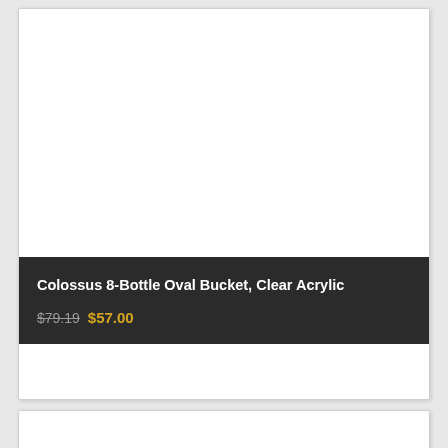[Figure (photo): Product card with dark banner showing Colossus 8-Bottle Oval Bucket Clear Acrylic with pricing]
Colossus 8-Bottle Oval Bucket, Clear Acrylic
$79.19 $57.00
[Figure (photo): Second product card, partially visible at bottom of page, white background]